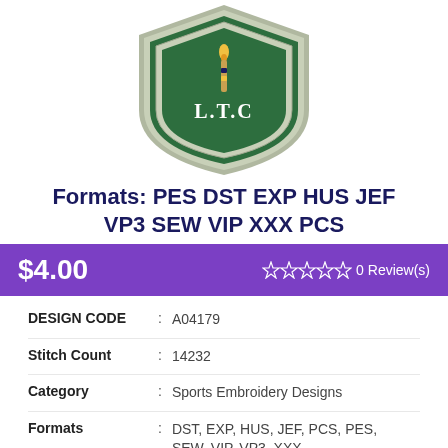[Figure (illustration): Green shield/badge embroidery design with 'L.T.C' text and a torch/candle symbol, with beige border]
Formats: PES DST EXP HUS JEF VP3 SEW VIP XXX PCS
$4.00   ☆☆☆☆☆ 0 Review(s)
| DESIGN CODE | : | A04179 |
| Stitch Count | : | 14232 |
| Category | : | Sports Embroidery Designs |
| Formats | : | DST, EXP, HUS, JEF, PCS, PES, SEW, VIP, VP3 ,XXX |
| Tags | : |  |